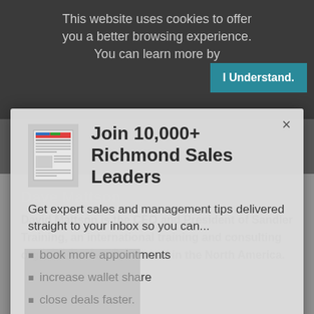This website uses cookies to offer you a better browsing experience. You can learn more by
I Understand.
Join 10,000+ Richmond Sales Leaders
Get expert sales and management tips delivered straight to your inbox so you can...
book more appointments
increase wallet share
close deals faster.
David Mattson is the CEO and President of Sandler Training, an international training and consulting organization headquartered in the North America.